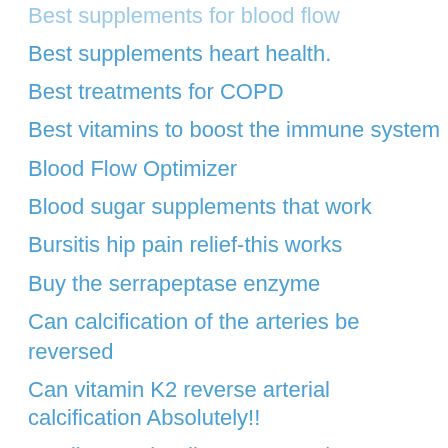Best supplements for blood flow
Best supplements heart health.
Best treatments for COPD
Best vitamins to boost the immune system
Blood Flow Optimizer
Blood sugar supplements that work
Bursitis hip pain relief-this works
Buy the serrapeptase enzyme
Can calcification of the arteries be reversed
Can vitamin K2 reverse arterial calcification Absolutely!!
Cardiovascular disease natural treatment
Chronic obstructive pulmonary disease copd
Circ02 Nitric Oxide
Circutol reviews
Clean your arteries from plaque